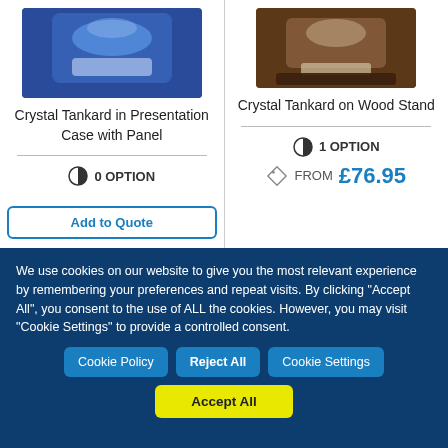[Figure (photo): Crystal tankard in a blue presentation case with decorative panel, partially cropped at top]
[Figure (photo): Crystal tankard on a dark wood stand, partially cropped at top]
Crystal Tankard in Presentation Case with Panel
Crystal Tankard on Wood Stand
0 OPTION
1 OPTION
FROM £76.95
We use cookies on our website to give you the most relevant experience by remembering your preferences and repeat visits. By clicking "Accept All", you consent to the use of ALL the cookies. However, you may visit "Cookie Settings" to provide a controlled consent.
Cookie Policy
Reject All
Cookie Settings
Accept All